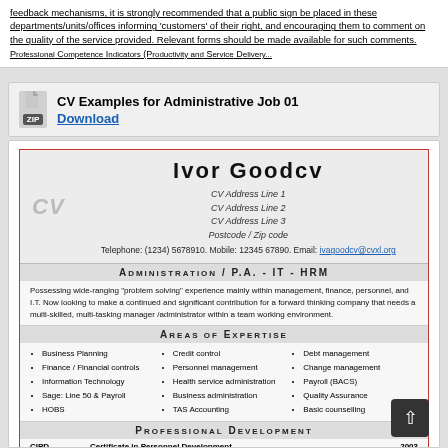feedback mechanisms, it is strongly recommended that a public sign be placed in these departments/units/offices informing 'customers' of their right, and encouraging them to comment on the quality of the service provided. Relevant forms should be made available for such comments.
Professional Competence Indicators (Productivity and Service Delivery ...) — the beginning of a partially visible line
[Figure (other): Download box for CV Examples for Administrative Job 01, ZIP file with Download link]
CV Examples for Administrative Job 01
Download
[Figure (other): CV document preview for Ivor Goodcv with address, contact, Administration/P.A.-IT-HRM profile, areas of expertise, and professional development sections]
Ivor Goodcv
CV Address Line 1
CV Address Line 2
CV Address Line 3
Postcode / Zip code
Telephone: (1234) 5678910. Mobile: 12345 67890. Email: ivagoodcv@cvxl.org
Administration / P.A. - IT - HRM
Possessing wide-ranging "problem solving" experience mainly within management, finance, personnel, and I.T. Now looking to make a continued and significant contribution for a forward thinking company that needs a multi-skilled, multi-tasking manager /administrator within a team working environment.
Areas of Expertise
Business Planning
Finance / Financial controls
Information Technology
Sage: Line 50 & Payroll
HOBS
Credit control
Personnel management
Health service administration
Business administration
TAS Accounting
Debt management
Change management
Payroll (BACS)
Quality Assurance
Basic counselling
Professional Development
CIPD    Certificate in Personnel Development    2003